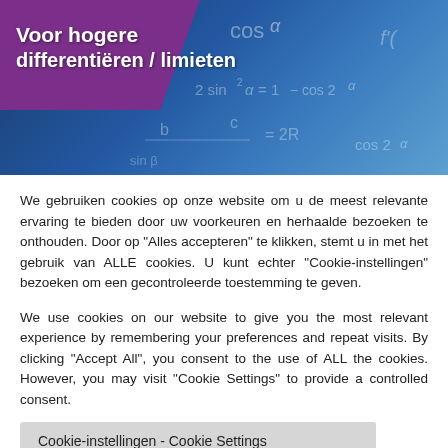[Figure (illustration): Banner image with purple and blue gradient background showing mathematical formulas and equations (cos α, sin²α, 2R, etc.) with white bold text reading 'Voor hogere' and 'differentiëren / limieten']
We gebruiken cookies op onze website om u de meest relevante ervaring te bieden door uw voorkeuren en herhaalde bezoeken te onthouden. Door op "Alles accepteren" te klikken, stemt u in met het gebruik van ALLE cookies. U kunt echter "Cookie-instellingen" bezoeken om een gecontroleerde toestemming te geven.
We use cookies on our website to give you the most relevant experience by remembering your preferences and repeat visits. By clicking "Accept All", you consent to the use of ALL the cookies. However, you may visit "Cookie Settings" to provide a controlled consent.
Cookie-instellingen - Cookie Settings
Alles accepteren - Accept All